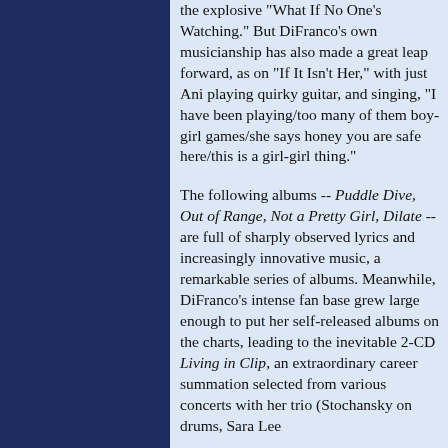the explosive "What If No One's Watching." But DiFranco's own musicianship has also made a great leap forward, as on "If It Isn't Her," with just Ani playing quirky guitar, and singing, "I have been playing/too many of them boy-girl games/she says honey you are safe here/this is a girl-girl thing."
The following albums -- Puddle Dive, Out of Range, Not a Pretty Girl, Dilate -- are full of sharply observed lyrics and increasingly innovative music, a remarkable series of albums. Meanwhile, DiFranco's intense fan base grew large enough to put her self-released albums on the charts, leading to the inevitable 2-CD Living in Clip, an extraordinary career summation selected from various concerts with her trio (Stochansky on drums, Sara Lee